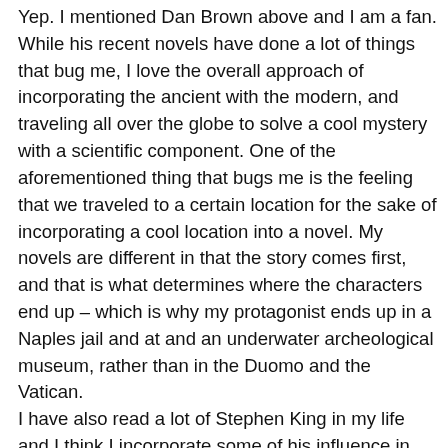Yep. I mentioned Dan Brown above and I am a fan. While his recent novels have done a lot of things that bug me, I love the overall approach of incorporating the ancient with the modern, and traveling all over the globe to solve a cool mystery with a scientific component. One of the aforementioned thing that bugs me is the feeling that we traveled to a certain location for the sake of incorporating a cool location into a novel. My novels are different in that the story comes first, and that is what determines where the characters end up – which is why my protagonist ends up in a Naples jail and at and an underwater archeological museum, rather than in the Duomo and the Vatican. I have also read a lot of Stephen King in my life and I think I incorporate some of his influence in my creepier scenes. And, in contrast, I read a lot of historical fiction (Philippa Gregory, etc.) I think I incorporate some of the voices from this genre.